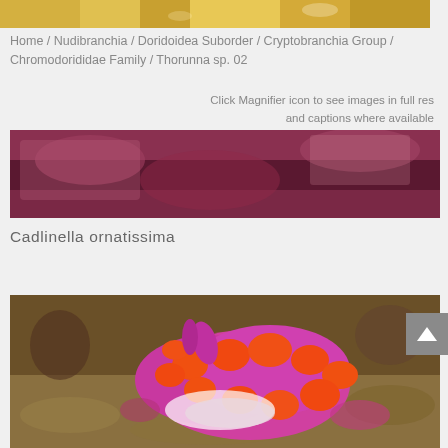[Figure (photo): Top cropped photo showing yellow/orange nudibranch or sea creature on ocean floor (partially visible)]
Home / Nudibranchia / Doridoidea Suborder / Cryptobranchia Group / Chromodorididae Family / Thorunna sp. 02
Click Magnifier icon to see images in full res and captions where available
[Figure (photo): Middle cropped photo showing dark red/purple nudibranch on ocean floor (partially visible)]
Cadlinella ornatissima
[Figure (photo): Large photo of Cadlinella ornatissima — a pink/purple nudibranch with bright orange spots on sandy ocean floor]